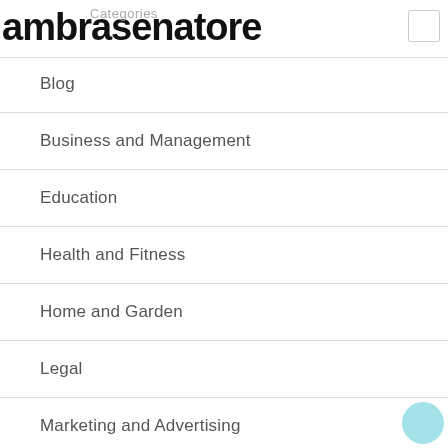ambrasenatore
Categories
Blog
Business and Management
Education
Health and Fitness
Home and Garden
Legal
Marketing and Advertising
Pets